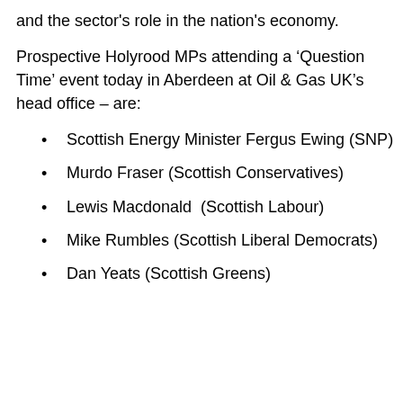and the sector's role in the nation's economy.
Prospective Holyrood MPs attending a 'Question Time' event today in Aberdeen at Oil & Gas UK's head office – are:
Scottish Energy Minister Fergus Ewing (SNP)
Murdo Fraser (Scottish Conservatives)
Lewis Macdonald  (Scottish Labour)
Mike Rumbles (Scottish Liberal Democrats)
Dan Yeats (Scottish Greens)